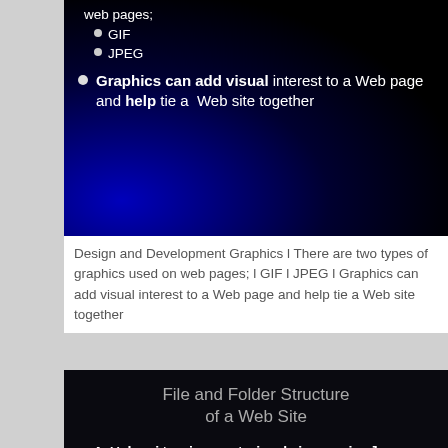[Figure (screenshot): Dark presentation slide showing bullet points about graphics on web pages: GIF, JPEG, and visual interest statement, with blue gradient background]
Design and Development Graphics l There are two types of graphics used on web pages; l GIF l JPEG l Graphics can add visual interest to a Web page and help tie a Web site together
[Figure (screenshot): Dark presentation slide titled 'File and Folder Structure of a Web Site' with bullet point about web site contained in a single directory (folder) on a computers hard drive.]